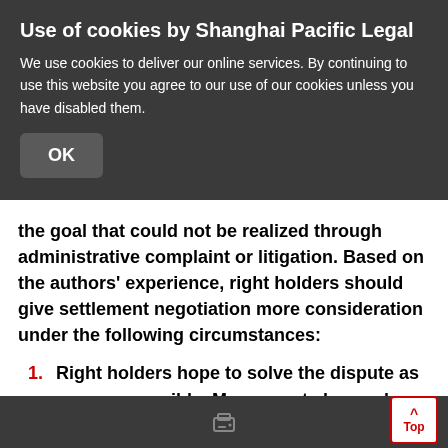Use of cookies by Shanghai Pacific Legal
We use cookies to deliver our online services. By continuing to use this website you agree to our use of our cookies unless you have disabled them.
the goal that could not be realized through administrative complaint or litigation. Based on the authors' experience, right holders should give settlement negotiation more consideration under the following circumstances:
Right holders hope to solve the dispute as soon as possible. Many courts have a large backlog of IP cases, and the progress of cases is slow. Where the right holder is a foreign party, the
Top